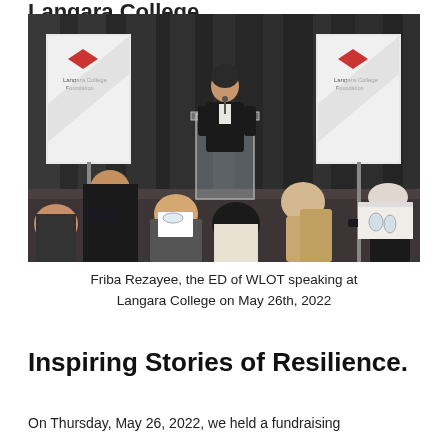Langara College
[Figure (photo): A speaker stands at a clear podium at a Langara College Foundation event. Two Langara College Foundation banners are visible on either side. Several audience members are seated in chairs facing the speaker, with their backs to the camera. Other panelists are seated behind the speaker on the stage.]
Friba Rezayee, the ED of WLOT speaking at Langara College on May 26th, 2022
Inspiring Stories of Resilience.
On Thursday, May 26, 2022, we held a fundraising